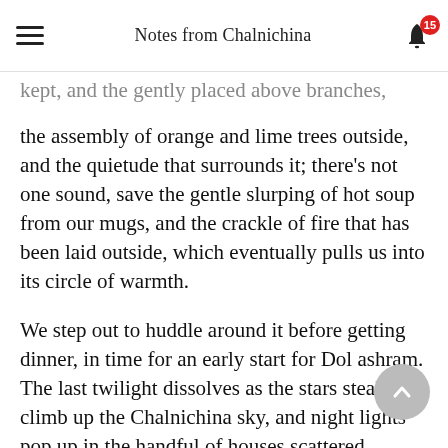Notes from Chalnichina
the assembly of orange and lime trees outside, and the quietude that surrounds it; there's not one sound, save the gentle slurping of hot soup from our mugs, and the crackle of fire that has been laid outside, which eventually pulls us into its circle of warmth.
We step out to huddle around it before getting dinner, in time for an early start for Dol ashram. The last twilight dissolves as the stars stealthily climb up the Chalnichina sky, and night lights pop up in the handful of houses scattered around, including this lone one on the slope. There are few nonchalant places that are worth a detour, but for a sliver of the old ways, I'd make one for Chalnichina in a heartbeat.